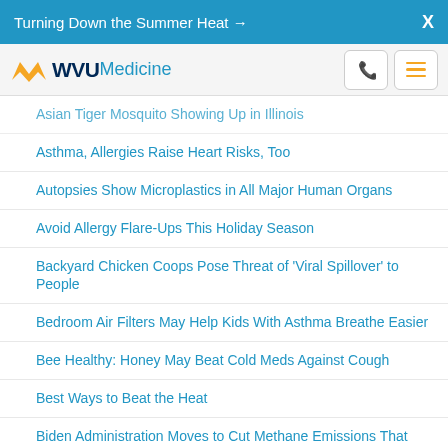Turning Down the Summer Heat →  X
[Figure (logo): WVU Medicine logo with flying WV bird in gold, WVU in dark blue, Medicine in light blue]
Asian Tiger Mosquito Showing Up in Illinois
Asthma, Allergies Raise Heart Risks, Too
Autopsies Show Microplastics in All Major Human Organs
Avoid Allergy Flare-Ups This Holiday Season
Backyard Chicken Coops Pose Threat of 'Viral Spillover' to People
Bedroom Air Filters May Help Kids With Asthma Breathe Easier
Bee Healthy: Honey May Beat Cold Meds Against Cough
Best Ways to Beat the Heat
Biden Administration Moves to Cut Methane Emissions That Threaten Climate, Health
Biden Administration Says California Can Set Tough Auto Emission Standards Again